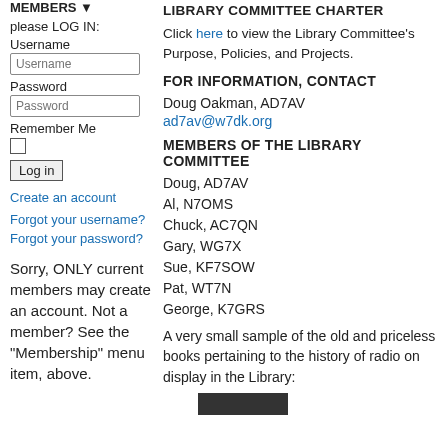MEMBERS
please LOG IN:
LIBRARY COMMITTEE CHARTER
Username
Click here to view the Library Committee's Purpose, Policies, and Projects.
Password
FOR INFORMATION, CONTACT
Remember Me
Doug Oakman, AD7AV
ad7av@w7dk.org
MEMBERS OF THE LIBRARY COMMITTEE
Doug, AD7AV
Al, N7OMS
Chuck, AC7QN
Gary, WG7X
Sue, KF7SOW
Pat, WT7N
George, K7GRS
Sorry, ONLY current members may create an account. Not a member? See the "Membership" menu item, above.
A very small sample of the old and priceless books pertaining to the history of radio on display in the Library:
[Figure (photo): Dark colored book cover partially visible at bottom of page]